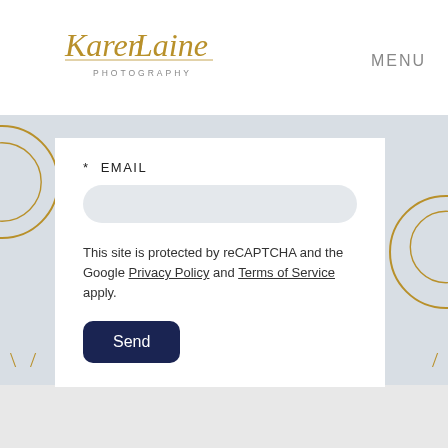[Figure (logo): Karen Laine Photography cursive logo with 'PHOTOGRAPHY' in small caps below]
MENU
* EMAIL
This site is protected by reCAPTCHA and the Google Privacy Policy and Terms of Service apply.
Send